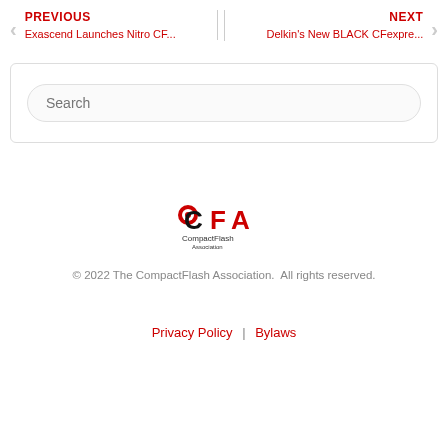PREVIOUS | Exascend Launches Nitro CF... | NEXT | Delkin's New BLACK CFexpre...
[Figure (screenshot): Search input box with placeholder text 'Search' inside a rounded rectangle, within a bordered container]
[Figure (logo): CFA CompactFlash Association logo — black and red letters 'CFA' with circular target icon, text 'CompactFlash' and 'Association' below]
© 2022 The CompactFlash Association.  All rights reserved.
Privacy Policy | Bylaws